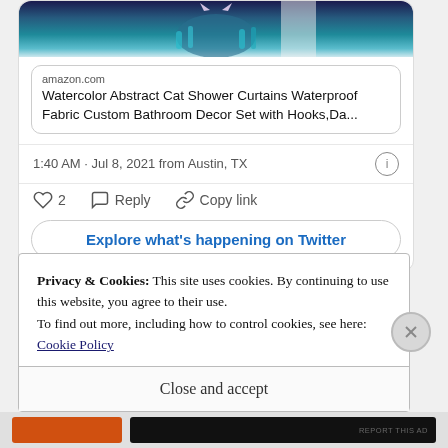[Figure (screenshot): Partial screenshot of a Twitter/Amazon product card showing a 'Watercolor Abstract Cat Shower Curtains' listing with a product image at top]
amazon.com
Watercolor Abstract Cat Shower Curtains Waterproof Fabric Custom Bathroom Decor Set with Hooks,Da...
1:40 AM · Jul 8, 2021 from Austin, TX
♡ 2   Reply   Copy link
Explore what's happening on Twitter
Privacy & Cookies: This site uses cookies. By continuing to use this website, you agree to their use.
To find out more, including how to control cookies, see here:
Cookie Policy
Close and accept